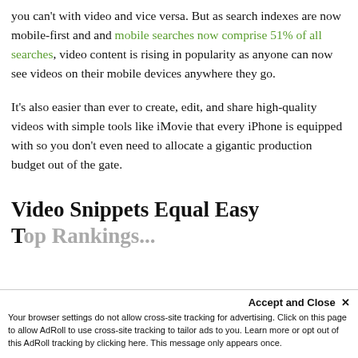you can't with video and vice versa. But as search indexes are now mobile-first and and mobile searches now comprise 51% of all searches, video content is rising in popularity as anyone can now see videos on their mobile devices anywhere they go.
It's also easier than ever to create, edit, and share high-quality videos with simple tools like iMovie that every iPhone is equipped with so you don't even need to allocate a gigantic production budget out of the gate.
Video Snippets Equal Easy Top Rankings...
Accept and Close ✕
Your browser settings do not allow cross-site tracking for advertising. Click on this page to allow AdRoll to use cross-site tracking to tailor ads to you. Learn more or opt out of this AdRoll tracking by clicking here. This message only appears once.